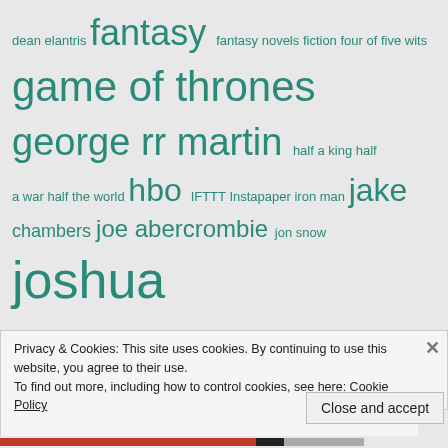[Figure (other): Tag cloud with fantasy/literary topics in varying sizes, teal/dark green color. Tags include: dean, elantris, fantasy, fantasy novels, fiction, four of five wits, game of thrones, george rr martin, half a king, half a war, half the world, hbo, IFTTT, Instapaper, iron man, jake chambers, joe abercrombie, jon snow, joshua macdougall, joshua s macdougall, jrr tolkien, literary criticism, magic, marvel, marvel cinematic universe, marvel comics, middle-earth, movies, mythology, neil gaiman, patrick rothfuss, peter jackson, productivity, quotes, reading, roland deschain, [cut off], scott lynch]
Privacy & Cookies: This site uses cookies. By continuing to use this website, you agree to their use.
To find out more, including how to control cookies, see here: Cookie Policy
Close and accept